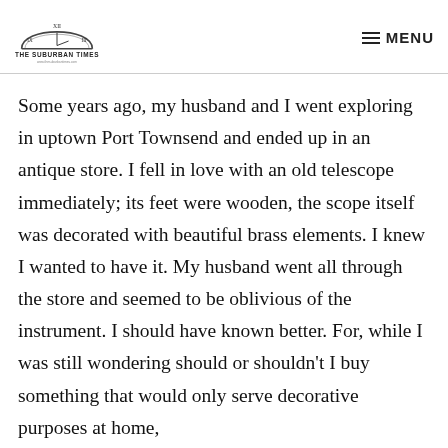THE SUBURBAN TIMES — MENU
Some years ago, my husband and I went exploring in uptown Port Townsend and ended up in an antique store. I fell in love with an old telescope immediately; its feet were wooden, the scope itself was decorated with beautiful brass elements. I knew I wanted to have it. My husband went all through the store and seemed to be oblivious of the instrument. I should have known better. For, while I was still wondering should or shouldn't I buy something that would only serve decorative purposes at home,